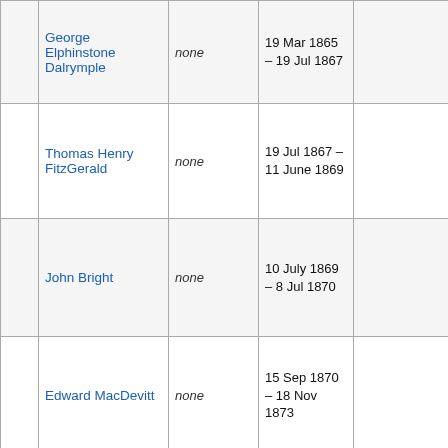|  | Name | Party | Dates (Member 1) | Member 2 (1878– | Party |
| --- | --- | --- | --- | --- | --- |
|  | George Elphinstone Dalrymple | none | 19 Mar 1865 – 19 Jul 1867 |  |  |
|  | Thomas Henry FitzGerald | none | 19 Jul 1867 – 11 June 1869 |  |  |
|  | John Bright | none | 10 July 1869 – 8 Jul 1870 |  |  |
|  | Edward MacDevitt | none | 15 Sep 1870 – 18 Nov 1873 |  |  |
|  | John Murtagh | none | 25 Nov 1873 | Member 2 (1878– | Party |